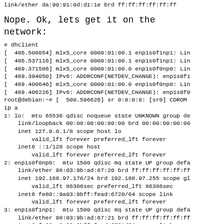link/ether da:90:91:0d:d1:1e brd ff:ff:ff:ff:ff:ff
Nope. Ok, lets get it on the network:
# dhclient
[  486.508054] mlx5_core 0000:01:00.1 enp1s0f1np1: Lin
[  486.537116] mlx5_core 0000:01:00.1 enp1s0f1np1: Lin
[  489.371586] mlx5_core 0000:01:00.0 enp1s0f0np0: Lin
[  489.394050] IPv6: ADDRCONF(NETDEV_CHANGE): enp1s0f1
[  489.400646] mlx5_core 0000:01:00.0 enp1s0f0np0: Lin
[  489.406226] IPv6: ADDRCONF(NETDEV_CHANGE): enp1s0f0
root@debian:~# [  500.596626] sr 0:0:0:0: [sr0] CDROM
ip a
1: lo:  mtu 65536 qdisc noqueue state UNKNOWN group de
    link/loopback 00:00:00:00:00:00 brd 00:00:00:00:00
    inet 127.0.0.1/8 scope host lo
        valid_lft forever preferred_lft forever
    inet6 ::1/128 scope host
        valid_lft forever preferred_lft forever
2: enp1s0f0np0:  mtu 1500 qdisc mq state UP group defa
    link/ether 98:03:9b:ad:67:20 brd ff:ff:ff:ff:ff:ff
    inet 192.168.97.178/24 brd 192.168.97.255 scope gl
        valid_lft 86386sec preferred_lft 86386sec
    inet6 fe80::9a03:9bff:fead:6720/64 scope link
        valid_lft forever preferred_lft forever
3: enp1s0f1np1:  mtu 1500 qdisc mq state UP group defa
    link/ether 98:03:9b:ad:67:21 brd ff:ff:ff:ff:ff:ff
    inet6 fe80::9a03:9bff:fead:6721/64 scope link
        valid_lft forever preferred_lft forever